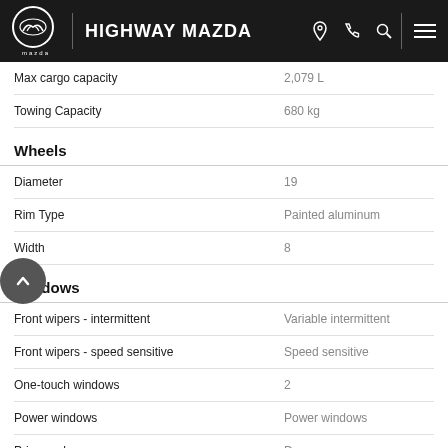HIGHWAY MAZDA
| Specification | Value |
| --- | --- |
| Max cargo capacity | 2,079 L |
| Towing Capacity | 680 kg |
Wheels
| Specification | Value |
| --- | --- |
| Diameter | 19 |
| Rim Type | Painted aluminum |
| Width | 8 |
Windows
| Specification | Value |
| --- | --- |
| Front wipers - intermittent | Variable intermittent |
| Front wipers - speed sensitive | Speed sensitive |
| One-touch windows | 2 |
| Power windows | Power windows |
| Privacy glass | Deep |
| Rear defogger | Rear defogger |
| Rear wiper | Fixed interval |